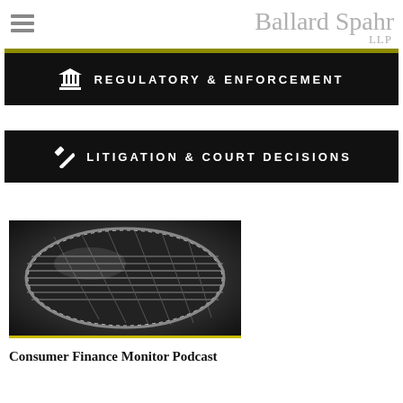Ballard Spahr LLP
REGULATORY & ENFORCEMENT
LITIGATION & COURT DECISIONS
[Figure (photo): Close-up black and white photograph of a microphone grille]
Consumer Finance Monitor Podcast